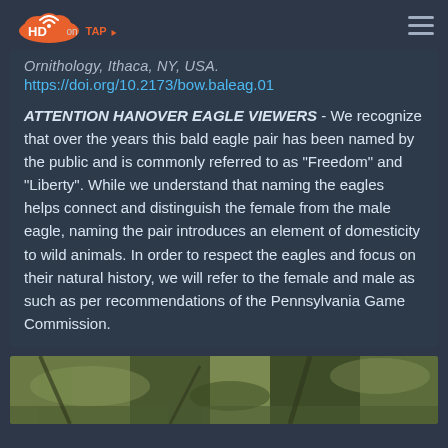HD on TAP logo and navigation menu
Ornithology, Ithaca, NY, USA.
https://doi.org/10.2173/bow.baleag.01
ATTENTION HANOVER EAGLE VIEWERS - We recognize that over the years this bald eagle pair has been named by the public and is commonly referred to as "Freedom" and "Liberty". While we understand that naming the eagles helps connect and distinguish the female from the male eagle, naming the pair introduces an element of domesticity to wild animals. In order to respect the eagles and focus on their natural history, we will refer to the female and male as such as per recommendations of the Pennsylvania Game Commission.
[Figure (photo): Partial photo of what appears to be a bald eagle or nest in natural surroundings, shown at the bottom of the page]